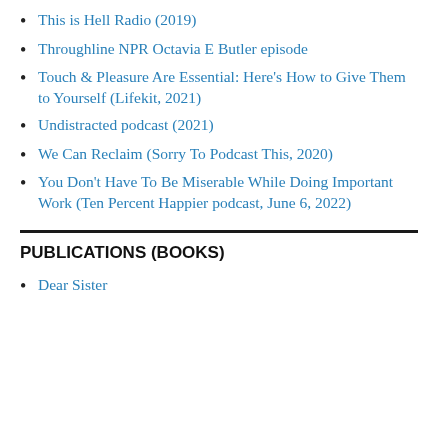This is Hell Radio (2019)
Throughline NPR Octavia E Butler episode
Touch & Pleasure Are Essential: Here's How to Give Them to Yourself (Lifekit, 2021)
Undistracted podcast (2021)
We Can Reclaim (Sorry To Podcast This, 2020)
You Don't Have To Be Miserable While Doing Important Work (Ten Percent Happier podcast, June 6, 2022)
PUBLICATIONS (BOOKS)
Dear Sister